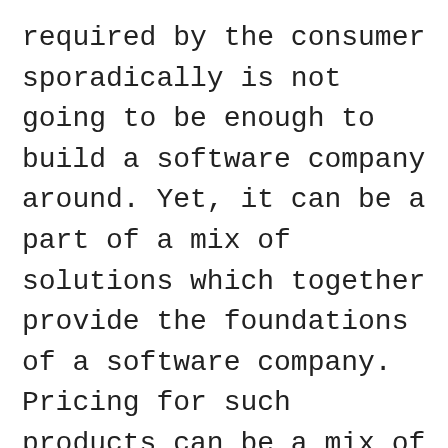required by the consumer sporadically is not going to be enough to build a software company around. Yet, it can be a part of a mix of solutions which together provide the foundations of a software company. Pricing for such products can be a mix of both subscription pricing and full version pricing. For instance, Gemini 2 is a product which finds duplicate files on hard drives and gives you the